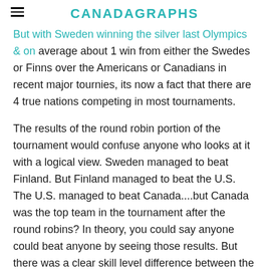CANADAGRAPHS
But with Sweden winning the silver last Olympics & on average about 1 win from either the Swedes or Finns over the Americans or Canadians in recent major tournies, its now a fact that there are 4 true nations competing in most tournaments.
The results of the round robin portion of the tournament would confuse anyone who looks at it with a logical view. Sweden managed to beat Finland. But Finland managed to beat the U.S. The U.S. managed to beat Canada....but Canada was the top team in the tournament after the round robins? In theory, you could say anyone could beat anyone by seeing those results. But there was a clear skill level difference between the U.S. & Canada, compared to the two Nordic